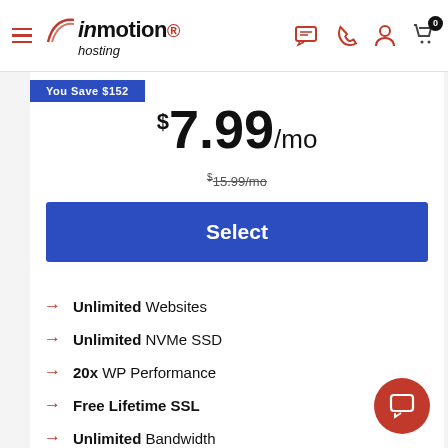[Figure (screenshot): InMotion Hosting website navigation header with hamburger menu, logo, chat icon, phone icon, user icon, and cart icon with badge showing 0]
You Save $152
$7.99/mo
$15.99/mo (strikethrough)
Select
Unlimited Websites
Unlimited NVMe SSD
20x WP Performance
Free Lifetime SSL
Unlimited Bandwidth
Unlimited Email Addresses